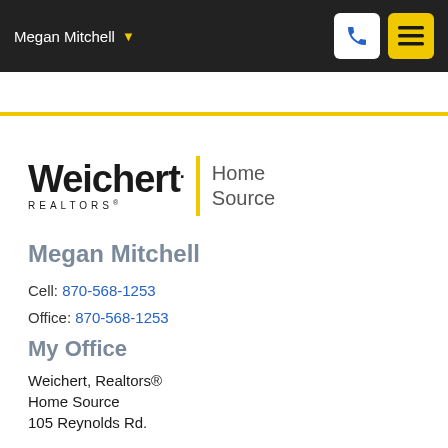Megan Mitchell
[Figure (logo): Weichert Realtors Home Source logo with yellow vertical bar divider]
Megan Mitchell
Cell: 870-568-1253
Office: 870-568-1253
My Office
Weichert, Realtors®
Home Source
105 Reynolds Rd.